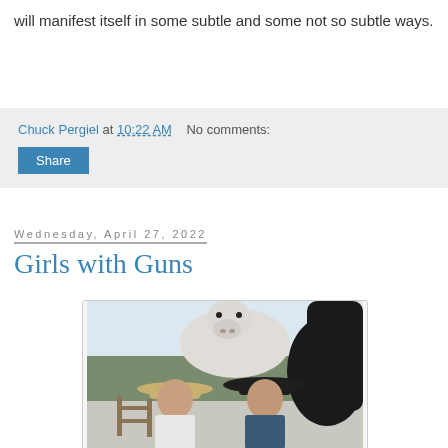will manifest itself in some subtle and some not so subtle ways.
Chuck Pergiel at 10:22 AM   No comments:
Share
Wednesday, April 27, 2022
Girls with Guns
[Figure (photo): Two young women wearing cowboy hats standing in front of a white horse outdoors in a winter/rural landscape setting.]